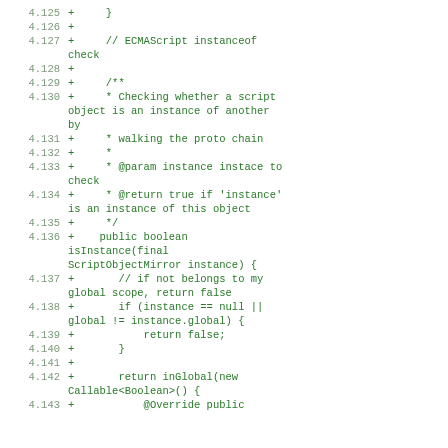Code diff showing lines 4.125-4.143 with additions (+) in green monospace font. Content includes ECMAScript instanceof check implementation with isInstance method for ScriptObjectMirror.